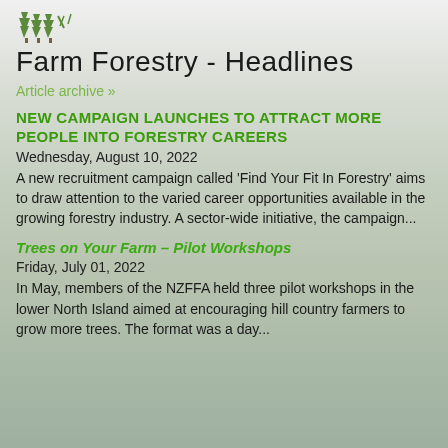[Figure (logo): Farm forestry logo - stylized tree/forest icon in green]
Farm Forestry - Headlines
Article archive »
New campaign launches to attract more people into forestry careers
Wednesday, August 10, 2022
A new recruitment campaign called 'Find Your Fit In Forestry' aims to draw attention to the varied career opportunities available in the growing forestry industry. A sector-wide initiative, the campaign...
Trees on Your Farm – Pilot Workshops
Friday, July 01, 2022
In May, members of the NZFFA held three pilot workshops in the lower North Island aimed at encouraging hill country farmers to grow more trees. The format was a day...